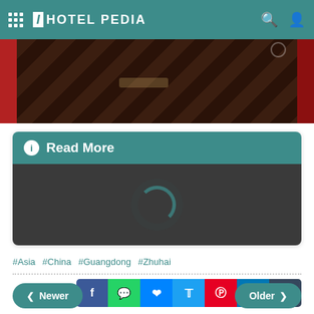HOTEL PEDIA
[Figure (photo): Hotel interior photo showing dark wood floor tiles with red curtains on left and right sides]
Read More
[Figure (other): Loading spinner ring on dark background]
#Asia  #China  #Guangdong  #Zhuhai
SHARE
Newer
Older